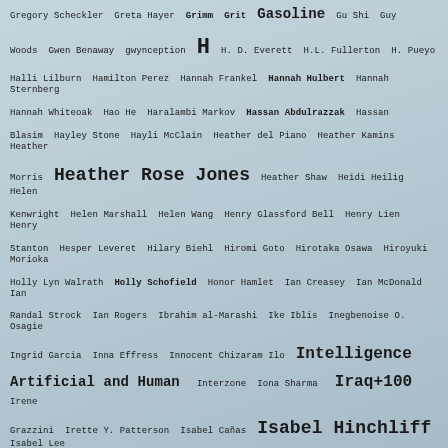Gregory Scheckler Greta Hayer Grimm Grit Gasoline Gu Shi Guy Woods Gwen Benaway gwynception H H. D. Everett H.L. Fullerton H. Pueyo Halli Lilburn Hamilton Perez Hannah Frankel Hannah Hulbert Hannah Sternberg Hannah Whiteoak Hao He Haralambi Markov Hassan Abdulrazzak Hassan Blasim Hayley Stone Hayli McClain Heather del Piano Heather Kamins Heather Morris Heather Rose Jones Heather Shaw Heidi Heilig Helen Kenwright Helen Marshall Helen Wang Henry Glassford Bell Henry Lien Henry Stanton Hesper Leveret Hilary Biehl Hiromi Goto Hirotaka Osawa Hiroyuki Morioka Holly Lyn Walrath Holly Schofield Honor Hamlet Ian Creasey Ian McDonald Ian Randal Strock Ian Rogers Ibrahim al-Marashi Ike Iblis Inegbenoise O. Osagie Ingrid Garcia Inna Effress Innocent Chizaram Ilo Intelligence Artificial and Human Interzone Iona Sharma Iraq+100 Irene Grazzini Irette Y. Patterson Isabel Cañas Isabel Hinchliff Isabel Lee Ivy Grimes Izzy Varju Izzy Wasserstein J. A. Gross J. Askew J. B. Rockwell J. B. Toner J. Byrd J. D. Buffington J. E. Bates J. G. Formato J. M. Evenson J.M. Guzman J.M. Phillippe J. M. Wetherell J. Motocki J. S. Rogers J. S.